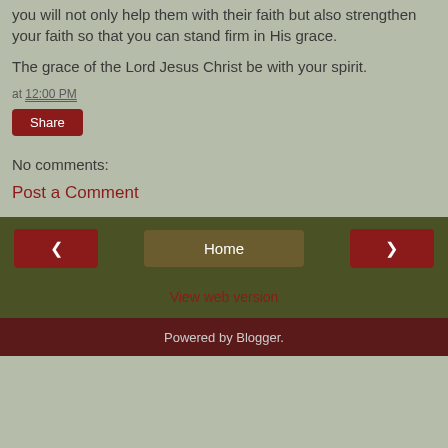you will not only help them with their faith but also strengthen your faith so that you can stand firm in His grace.
The grace of the Lord Jesus Christ be with your spirit.
at 12:00 PM
Share
No comments:
Post a Comment
Home | < | >
View web version
Powered by Blogger.